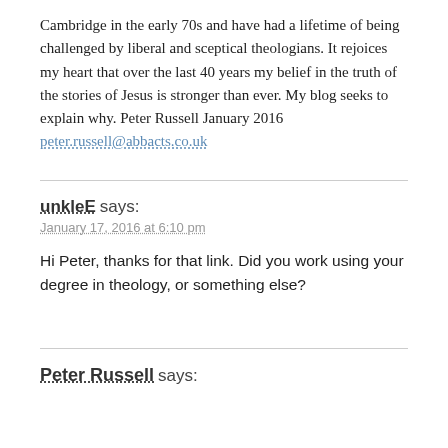Cambridge in the early 70s and have had a lifetime of being challenged by liberal and sceptical theologians. It rejoices my heart that over the last 40 years my belief in the truth of the stories of Jesus is stronger than ever. My blog seeks to explain why. Peter Russell January 2016 peter.russell@abbacts.co.uk
unkleE says:
January 17, 2016 at 6:10 pm
Hi Peter, thanks for that link. Did you work using your degree in theology, or something else?
Peter Russell says: